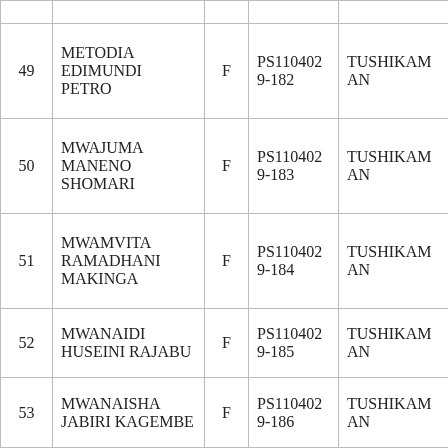| No. | Name | Sex | ID | School |
| --- | --- | --- | --- | --- |
| 49 | METODIA EDIMUNDI PETRO | F | PS1104029-182 | TUSHIKAMANE |
| 50 | MWAJUMA MANENO SHOMARI | F | PS1104029-183 | TUSHIKAMANE |
| 51 | MWAMVITA RAMADHANI MAKINGA | F | PS1104029-184 | TUSHIKAMANE |
| 52 | MWANAIDI HUSEINI RAJABU | F | PS1104029-185 | TUSHIKAMANE |
| 53 | MWANAISHA JABIRI KAGEMBE | F | PS1104029-186 | TUSHIKAMANE |